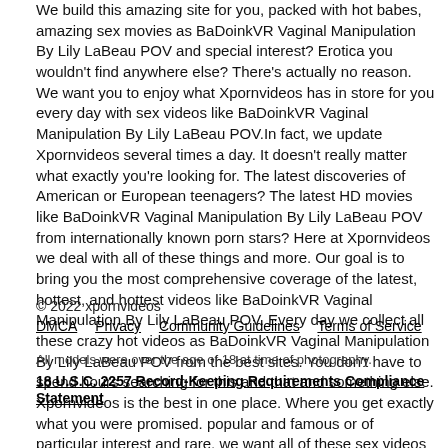We build this amazing site for you, packed with hot babes, amazing sex movies as BaDoinkVR Vaginal Manipulation By Lily LaBeau POV and special interest? Erotica you wouldn't find anywhere else? There's actually no reason. We want you to enjoy what Xpornvideos has in store for you every day with sex videos like BaDoinkVR Vaginal Manipulation By Lily LaBeau POV.In fact, we update Xpornvideos several times a day. It doesn't really matter what exactly you're looking for. The latest discoveries of American or European teenagers? The latest HD movies like BaDoinkVR Vaginal Manipulation By Lily LaBeau POV from internationally known porn stars? Here at Xpornvideos we deal with all of these things and more. Our goal is to bring you the most comprehensive coverage of the latest, hottest, and hottest videos like BaDoinkVR Vaginal Manipulation By Lily LaBeau POV. Every day we collect all these crazy hot videos as BaDoinkVR Vaginal Manipulation By Lily LaBeau POV from the best sites. You don't have to spend hours searching for this and that and something else. Xpornvideos is the best in one place. Where you get exactly what you were promised. popular and famous or of particular interest and rare, we want all of these sex videos like BaDoinkVR Vaginal Manipulation By Lily LaBeau POV to be there for you. Every day, all day.Bookmark us for more fun. We hope it will be soon! Start exploring Xpornvideos now, enjoy all our goodies and let us know if you have anything to share.
© 2022 xpornvideos
DMCA  Privacy  Community Guidelines  Terms of Service

All models were over the age of 18 at time of photography.
18 U.S.C. 2257 Record-Keeping Requirements Compliance Statement